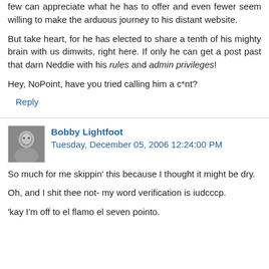few can appreciate what he has to offer and even fewer seem willing to make the arduous journey to his distant website.
But take heart, for he has elected to share a tenth of his mighty brain with us dimwits, right here. If only he can get a post past that darn Neddie with his rules and admin privileges!
Hey, NoPoint, have you tried calling him a c*nt?
Reply
Bobby Lightfoot Tuesday, December 05, 2006 12:24:00 PM
So much for me skippin' this because I thought it might be dry.
Oh, and I shit thee not- my word verification is iudcccp.
'kay I'm off to el flamo el seven pointo.